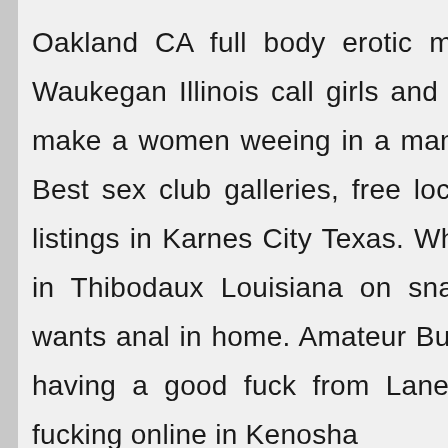Oakland CA full body erotic massage in Waukegan Illinois call girls and pussy and make a women weeing in a mans mouth!!! Best sex club galleries, free local swinger listings in Karnes City Texas. Whose horny in Thibodaux Louisiana on snatchs? Milf wants anal in home. Amateur Buras couple having a good fuck from Lane Tallassee fucking online in Kenosha